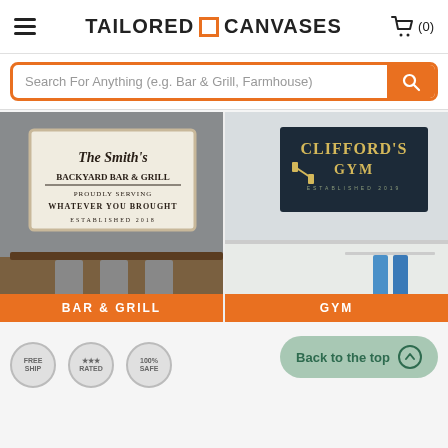Tailored Canvases
Search For Anything (e.g. Bar & Grill, Farmhouse)
[Figure (photo): Bar & Grill personalized canvas sign showing 'The Smith's Backyard Bar & Grill' hanging on wall above wooden bar stools]
BAR & GRILL
[Figure (photo): Gym personalized canvas sign showing 'Clifford's Gym' hanging on wall in gym/laundry room]
GYM
Back to the top